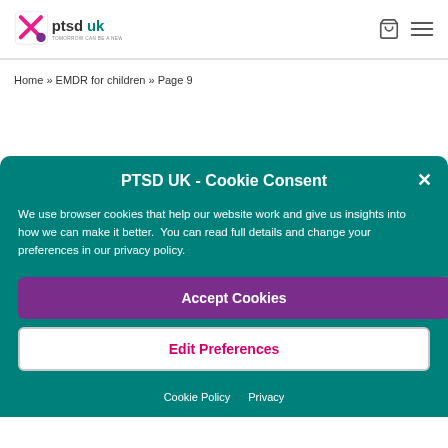[Figure (logo): PTSD UK logo with text 'Tomorrow can be a new day']
Home » EMDR for children » Page 9
PTSD UK - Cookie Consent
We use browser cookies that help our website work and give us insights into how we can make it better. You can read full details and change your preferences in our privacy policy.
Accept Cookies
Edit Preferences
Cookie Policy   Privacy